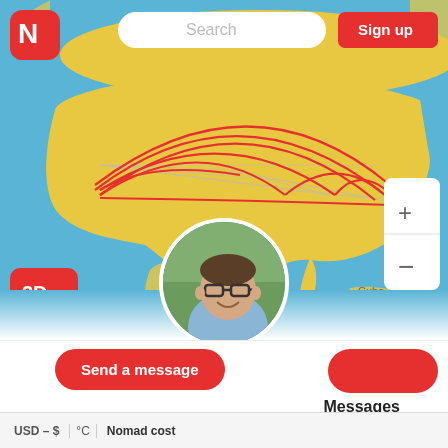[Figure (screenshot): Interactive travel map showing North America (USA highlighted in yellow) with red arc lines overlaid showing travel routes between US cities, on a blue ocean background. Includes UI elements: search bar, logo, Sign up button, 3D button, zoom controls.]
Search
Sign up
Mexico
Cuba
uatemala
3D
+
-
[Figure (photo): Circular profile photo of a smiling man wearing glasses and a light blue shirt, outdoors with green trees in background.]
@finnious
Send a message
Messages
USD – $
°C
Nomad cost